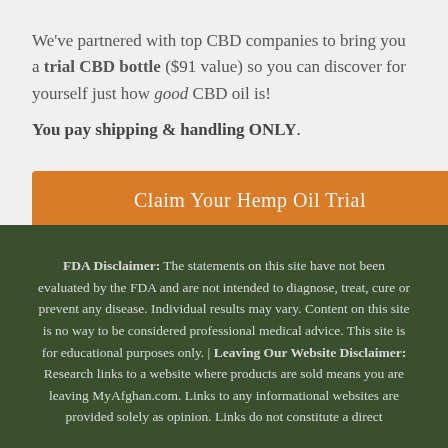We've partnered with top CBD companies to bring you a trial CBD bottle ($91 value) so you can discover for yourself just how good CBD oil is! You pay shipping & handling ONLY.
[Figure (other): Orange button labeled 'Claim Your Hemp Oil Trial']
FDA Disclaimer: The statements on this site have not been evaluated by the FDA and are not intended to diagnose, treat, cure or prevent any disease. Individual results may vary. Content on this site is no way to be considered professional medical advice. This site is for educational purposes only. | Leaving Our Website Disclaimer: Research links to a website where products are sold means you are leaving MyAfghan.com. Links to any informational websites are provided solely as opinion. Links do not constitute a direct